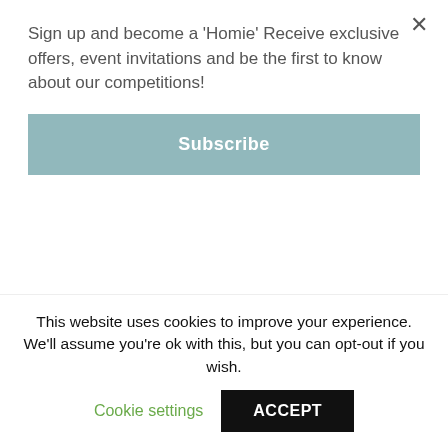Sign up and become a 'Homie' Receive exclusive offers, event invitations and be the first to know about our competitions!
Subscribe
items.
5. CUSTOM NO.9: One of the most creative concepts I've come across, I look forward to their Cut Off Drop [a new product made from their off-cut materials] every month.
This website uses cookies to improve your experience. We'll assume you're ok with this, but you can opt-out if you wish.
Cookie settings
ACCEPT